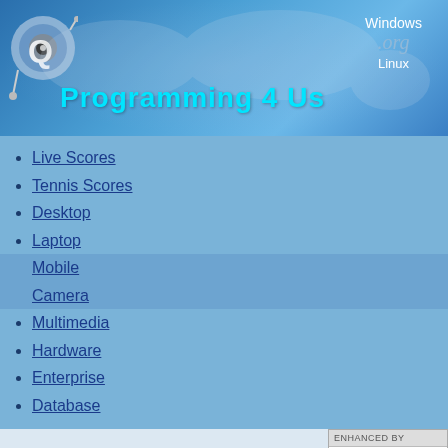[Figure (screenshot): Programming 4 Us website banner with logo, world map background, Windows and Linux icons, and cyan title text]
Live Scores
Tennis Scores
Desktop
Laptop
Mobile
Camera
Multimedia
Hardware
Enterprise
Database
MOBILE
Nook HD - A High-Definition Tablet With The Heart Of A Reader (Part 3)
ENHANCED BY
Search
- Review : S